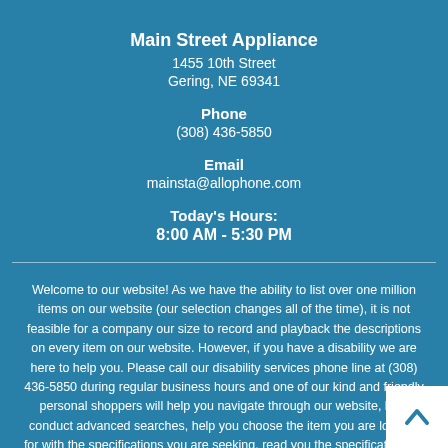Main Street Appliance
1455 10th Street
Gering, NE 69341
Phone
(308) 436-5850
Email
mainsta@allophone.com
Today's Hours:
8:00 AM - 5:30 PM
Welcome to our website! As we have the ability to list over one million items on our website (our selection changes all of the time), it is not feasible for a company our size to record and playback the descriptions on every item on our website. However, if you have a disability we are here to help you. Please call our disability services phone line at (308) 436-5850 during regular business hours and one of our kind and friendly personal shoppers will help you navigate through our website, help conduct advanced searches, help you choose the item you are looking for with the specifications you are seeking, read you the specifications of any item and consult with you about the products themselves. There is no charge for the help of this personal shopper for anyone with a disability. Finally, your